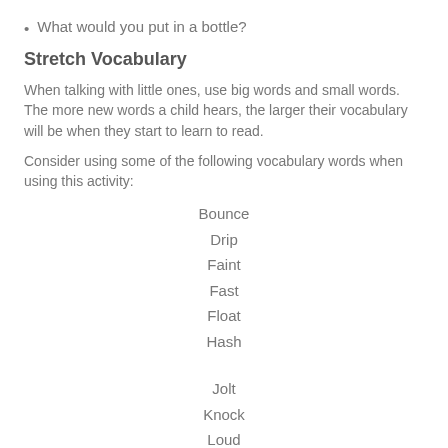What would you put in a bottle?
Stretch Vocabulary
When talking with little ones, use big words and small words. The more new words a child hears, the larger their vocabulary will be when they start to learn to read.
Consider using some of the following vocabulary words when using this activity:
Bounce
Drip
Faint
Fast
Float
Hash
Jolt
Knock
Loud